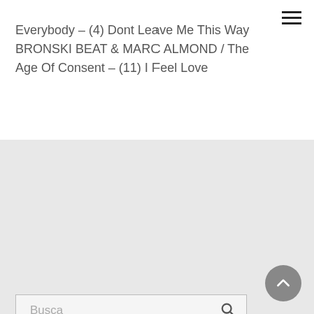Everybody – (4) Dont Leave Me This Way BRONSKI BEAT & MARC ALMOND / The Age Of Consent – (11) I Feel Love
Busca
Os cookies ajudam a melhorar a sua experiência de navegação na internet. Sugerimos que os aceite. Para mais detalhes consulte a nossa Política de Cookies.
Note também que os conteúdos externos podem ser alterados sem o nosso conhecimento. Faça deles uma utilização consciente e prudente.
Este website é desenvolvido e alojado por micro website com